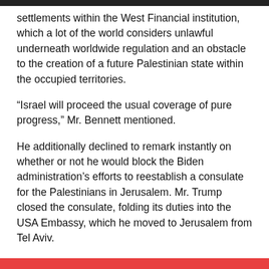settlements within the West Financial institution, which a lot of the world considers unlawful underneath worldwide regulation and an obstacle to the creation of a future Palestinian state within the occupied territories.
“Israel will proceed the usual coverage of pure progress,” Mr. Bennett mentioned.
He additionally declined to remark instantly on whether or not he would block the Biden administration’s efforts to reestablish a consulate for the Palestinians in Jerusalem. Mr. Trump closed the consulate, folding its duties into the USA Embassy, which he moved to Jerusalem from Tel Aviv.
However Mr. Biden hopes to reopen the consulate to assist mend a relationship with the Palestinians that collapsed underneath Mr. Trump. Palestinians hope that East Jerusalem, which Israel captured from Jordan in 1967, will